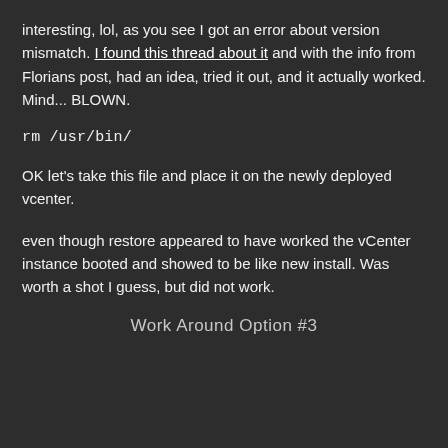interesting, lol, as you see I got an error about version mismatch. I found this thread about it and with the info from Florians post, had an idea, tried it out, and it actually worked. Mind... BLOWN.
rm /usr/bin/
OK let's take this file and place it on the newly deployed vcenter.
even though restore appeared to have worked the vCenter instance booted and showed to be like new install. Was worth a shot I guess, but did not work.
Work Around Option #3